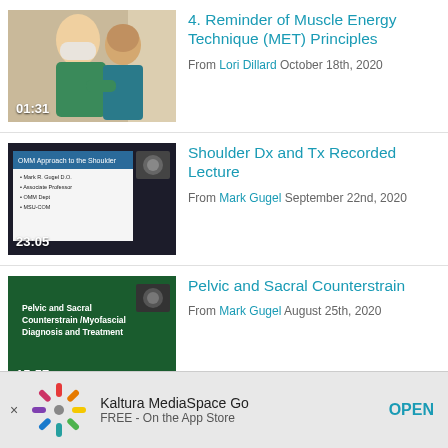[Figure (screenshot): Video thumbnail showing two people, one in green scrubs wearing a mask, the other with back turned, duration 01:31]
4. Reminder of Muscle Energy Technique (MET) Principles
From Lori Dillard October 18th, 2020
[Figure (screenshot): Video thumbnail of lecture slide 'OMM Approach to the Shoulder' by Mark R. Gugel D.O., duration 23:05]
Shoulder Dx and Tx Recorded Lecture
From Mark Gugel September 22nd, 2020
[Figure (screenshot): Video thumbnail of green lecture slide 'Pelvic and Sacral Counterstrain /Myofascial Diagnosis and Treatment', duration 15:57]
Pelvic and Sacral Counterstrain
From Mark Gugel August 25th, 2020
Kaltura MediaSpace Go
FREE - On the App Store